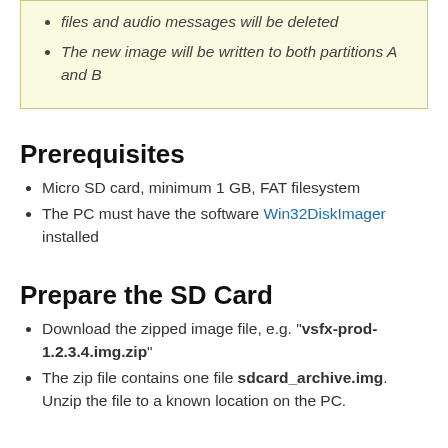files and audio messages will be deleted
The new image will be written to both partitions A and B
Prerequisites
Micro SD card, minimum 1 GB, FAT filesystem
The PC must have the software Win32DiskImager installed
Prepare the SD Card
Download the zipped image file, e.g. "vsfx-prod-1.2.3.4.img.zip"
The zip file contains one file sdcard_archive.img. Unzip the file to a known location on the PC.